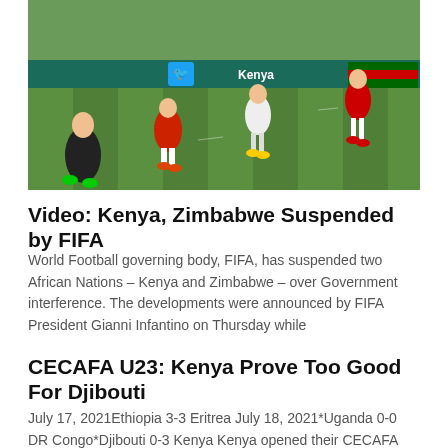[Figure (photo): Football match photo showing players running on a green pitch, with advertising boards in the background including a Twitter logo and Kenya branding. Players wearing red/white and black/white kits.]
Video: Kenya, Zimbabwe Suspended by FIFA
World Football governing body, FIFA, has suspended two African Nations – Kenya and Zimbabwe – over Government interference. The developments were announced by FIFA President Gianni Infantino on Thursday while
CECAFA U23: Kenya Prove Too Good For Djibouti
July 17, 2021Ethiopia 3-3 Eritrea July 18, 2021*Uganda 0-0 DR Congo*Djibouti 0-3 Kenya Kenya opened their CECAFA U23 campaign with a convincing win against minnows Djibouti on Sunday. The Emerging